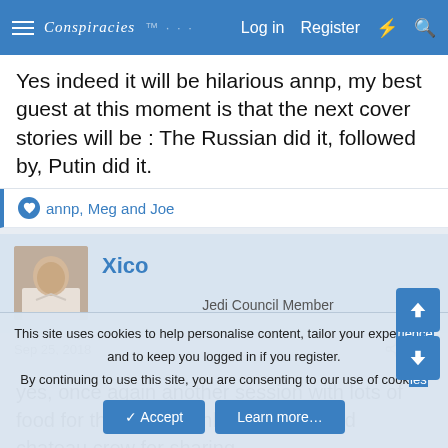Conspiracies — Log in  Register
Yes indeed it will be hilarious annp, my best guest at this moment is that the next cover stories will be : The Russian did it, followed by, Putin did it.
annp, Meg and Joe
Xico
Jedi Council Member
Sep 25, 2018   #65
yes, once again another session with lots of food for thought, Thank you Laura and chateau crew for sharing....
This site uses cookies to help personalise content, tailor your experience and to keep you logged in if you register.
By continuing to use this site, you are consenting to our use of cookies.
✓ Accept    Learn more…